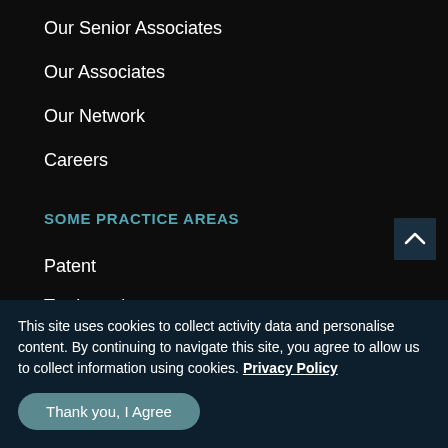Our Senior Associates
Our Associates
Our Network
Careers
SOME PRACTICE AREAS
Patent
Trademarks
Copyright
Design
Litigation
Property
This site uses cookies to collect activity data and personalise content. By continuing to navigate this site, you agree to allow us to collect information using cookies. Privacy Policy
Thank you, I Agree